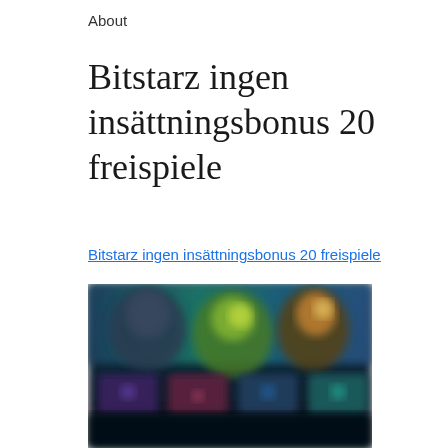About
Bitstarz ingen insättningsbonus 20 freispiele
Bitstarz ingen insättningsbonus 20 freispiele
[Figure (screenshot): Blurred screenshot of a casino game lobby showing colorful game thumbnails with characters, on a dark background with teal/blue and dark tones.]